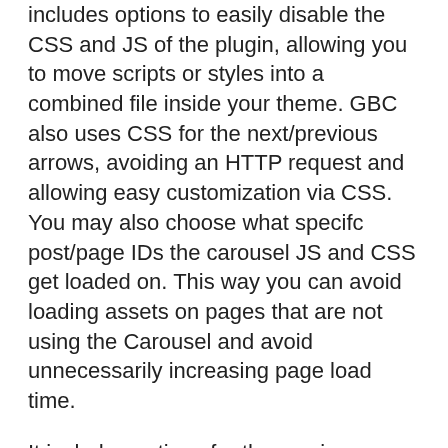includes options to easily disable the CSS and JS of the plugin, allowing you to move scripts or styles into a combined file inside your theme. GBC also uses CSS for the next/previous arrows, avoiding an HTTP request and allowing easy customization via CSS. You may also choose what specifc post/page IDs the carousel JS and CSS get loaded on. This way you can avoid loading assets on pages that are not using the Carousel and avoid unnecessarily increasing page load time.
It includes options for the maximum dimensions of your slideshow, allows you to choose to display posts, pages, custom post types, what category to pull from, and even the specific post IDs of the posts you want to display. It includes next/previous arrows that can be turned on or off. Finally, you can place the carousel into a